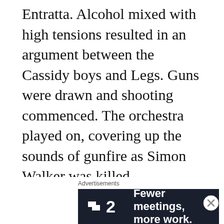Entratta. Alcohol mixed with high tensions resulted in an argument between the Cassidy boys and Legs. Guns were drawn and shooting commenced. The orchestra played on, covering up the sounds of gunfire as Simon Walker was killed.

The murder of Simon Walker in the Hotsy-Totsy Club in 1929 was a
Advertisements
[Figure (other): Advertisement banner for Pitch app: dark navy background with Pitch logo (two overlapping rectangles), the number 2, and text 'Fewer meetings, more work.' in bold white font.]